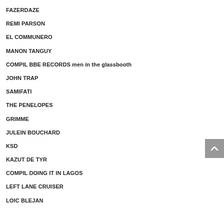FAZERDAZE
REMI PARSON
EL COMMUNERO
MANON TANGUY
COMPIL BBE RECORDS men in the glassbooth
JOHN TRAP
SAMIFATI
THE PENELOPES
GRIMME
JULEIN BOUCHARD
KSD
KAZUT DE TYR
COMPIL DOING IT IN LAGOS
LEFT LANE CRUISER
LOIC BLEJAN